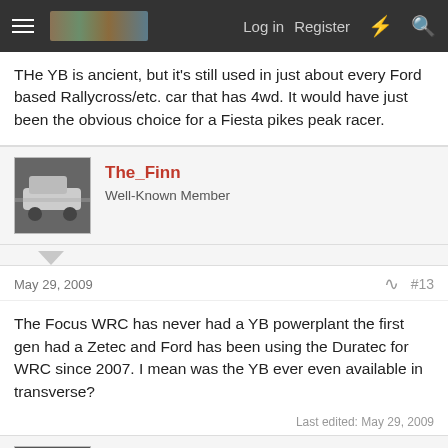Log in | Register
THe YB is ancient, but it's still used in just about every Ford based Rallycross/etc. car that has 4wd. It would have just been the obvious choice for a Fiesta pikes peak racer.
The_Finn
Well-Known Member
May 29, 2009 #13
The Focus WRC has never had a YB powerplant the first gen had a Zetec and Ford has been using the Duratec for WRC since 2007. I mean was the YB ever even available in transverse?
Last edited: May 29, 2009
freeferrarisdonotexist
I'm not stupid - I'm British!